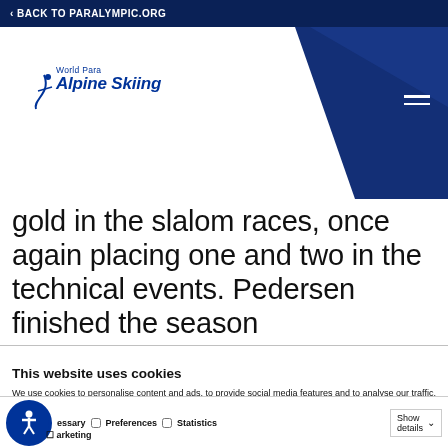< BACK TO PARALYMPIC.ORG
[Figure (logo): World Para Alpine Skiing logo on white chevron background with dark blue right side]
gold in the slalom races, once again placing one and two in the technical events. Pedersen finished the season
This website uses cookies
We use cookies to personalise content and ads, to provide social media features and to analyse our traffic. We also share information about your use of our site with our social media, advertising and analytics partners who may combine it with other information that you've provided to them or that they've collected from your use of their services.
Allow all cookies
Allow selection
Use necessary cookies
essary  Preferences  Statistics  Show details  Marketing